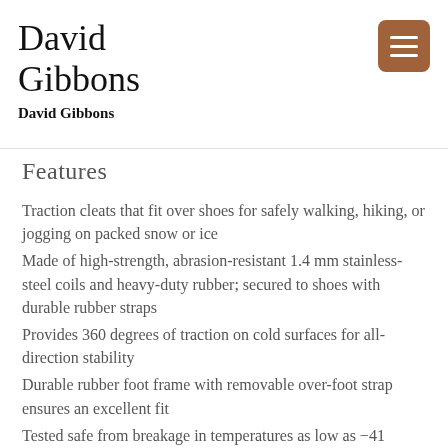David Gibbons
David Gibbons
Features
Traction cleats that fit over shoes for safely walking, hiking, or jogging on packed snow or ice
Made of high-strength, abrasion-resistant 1.4 mm stainless-steel coils and heavy-duty rubber; secured to shoes with durable rubber straps
Provides 360 degrees of traction on cold surfaces for all-direction stability
Durable rubber foot frame with removable over-foot strap ensures an excellent fit
Tested safe from breakage in temperatures as low as -41 degrees F; available in S, M, L, and XL sizes to fit most shoes